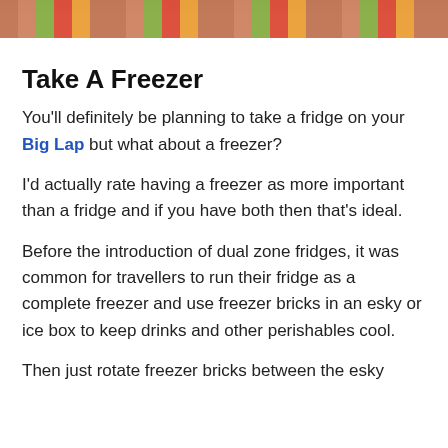[Figure (photo): Partial image at top of page showing colorful objects, cropped at top edge]
Take A Freezer
You'll definitely be planning to take a fridge on your Big Lap but what about a freezer?
I'd actually rate having a freezer as more important than a fridge and if you have both then that's ideal.
Before the introduction of dual zone fridges, it was common for travellers to run their fridge as a complete freezer and use freezer bricks in an esky or ice box to keep drinks and other perishables cool.
Then just rotate freezer bricks between the esky